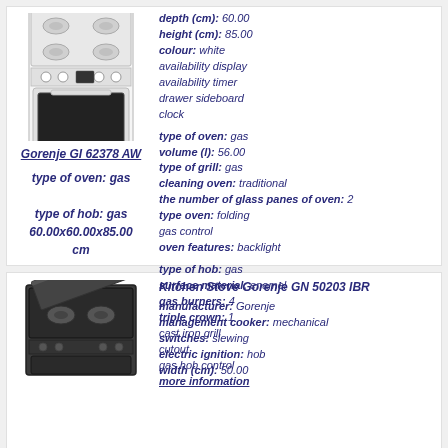[Figure (photo): White gas stove/cooker Gorenje GI 62378 AW, front view]
Gorenje GI 62378 AW
type of oven: gas
type of hob: gas
60.00x60.00x85.00 cm
depth (cm): 60.00
height (cm): 85.00
colour: white
availability display
availability timer
drawer sideboard
clock

type of oven: gas
volume (l): 56.00
type of grill: gas
cleaning oven: traditional
the number of glass panes of oven: 2
type oven: folding
gas control
oven features: backlight

type of hob: gas
surface material: enamel
gas burners: 4
triple crown: 1
cast iron grill
cutout
gas hob control
more information
[Figure (photo): Dark/black gas stove Kitchen Stove Gorenje GN 50203 IBR, partial view]
Kitchen Stove Gorenje GN 50203 IBR
manufacturer: Gorenje
management cooker: mechanical
switches: slewing
electric ignition: hob
width (cm): 50.00